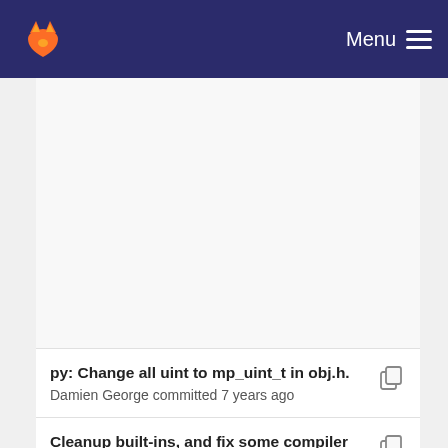Menu
py: Change all uint to mp_uint_t in obj.h.
Damien George committed 7 years ago
Cleanup built-ins, and fix some compiler warnings...
Damien George committed 8 years ago
Change object representation from 1 big union to i...
Damien committed 8 years ago
py: add more Python built-in functions.
Damien committed 8 years ago
Change object representation from 1 big union to i...
Damien committed 8 years ago
Cleanup built-ins, and fix some compiler warnings...